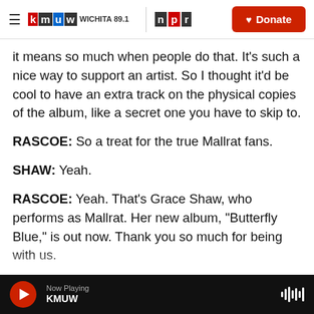KMUW WICHITA 89.1 | NPR | Donate
it means so much when people do that. It's such a nice way to support an artist. So I thought it'd be cool to have an extra track on the physical copies of the album, like a secret one you have to skip to.
RASCOE: So a treat for the true Mallrat fans.
SHAW: Yeah.
RASCOE: Yeah. That's Grace Shaw, who performs as Mallrat. Her new album, "Butterfly Blue," is out now. Thank you so much for being with us.
SHAW: Thank you. I really appreciate it. Transcript
Now Playing KMUW